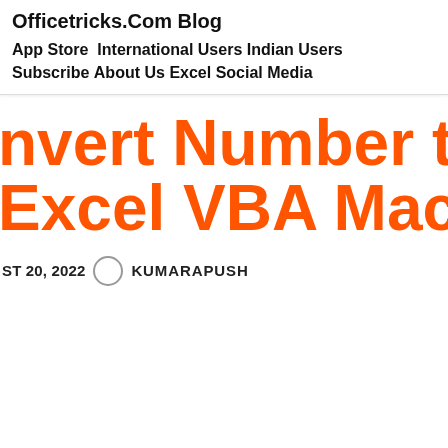Officetricks.Com Blog
App Store  International Users  Indian Users
Subscribe  About Us  Excel  Social Media
Convert Number to String Excel VBA Macro Code
AUGUST 20, 2022  KUMARAPUSH